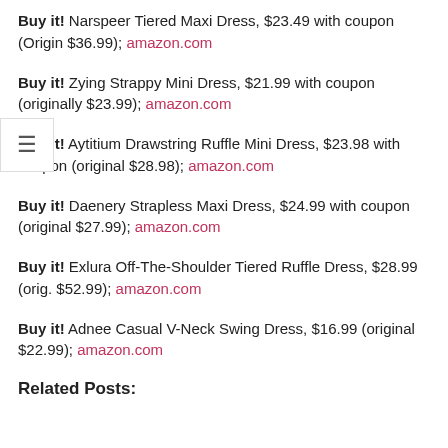Buy it! Narspeer Tiered Maxi Dress, $23.49 with coupon (Origin $36.99); amazon.com
Buy it! Zying Strappy Mini Dress, $21.99 with coupon (originally $23.99); amazon.com
Buy it! Aytitium Drawstring Ruffle Mini Dress, $23.98 with coupon (original $28.98); amazon.com
Buy it! Daenery Strapless Maxi Dress, $24.99 with coupon (original $27.99); amazon.com
Buy it! Exlura Off-The-Shoulder Tiered Ruffle Dress, $28.99 (orig. $52.99); amazon.com
Buy it! Adnee Casual V-Neck Swing Dress, $16.99 (original $22.99); amazon.com
Related Posts: